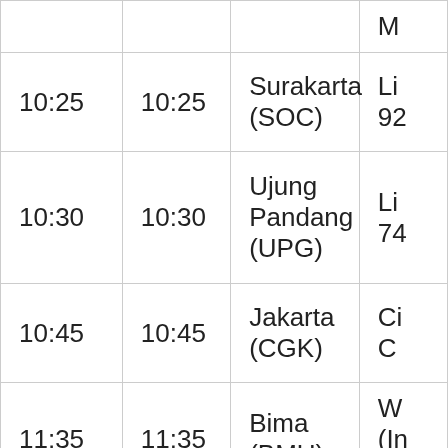| Departure | Arrival | Destination | Airline/Info |
| --- | --- | --- | --- |
|  |  | (…) | M… |
| 10:25 | 10:25 | Surakarta (SOC) | Li… 92… |
| 10:30 | 10:30 | Ujung Pandang (UPG) | Li… 74… |
| 10:45 | 10:45 | Jakarta (CGK) | Ci… C… |
| 11:35 | 11:35 | Bima (BMU) | W… (In… M… |